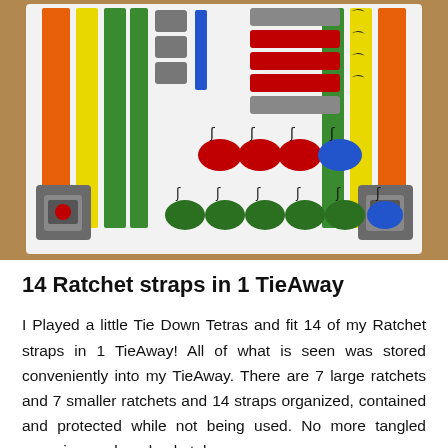[Figure (photo): A flat-lay photo of 14 colorful ratchet straps with hooks and buckles arranged neatly on a white board. Straps include orange, yellow, green, red, blue colors in various sizes.]
14 Ratchet straps in 1 TieAway
I Played a little Tie Down Tetras and fit 14 of my Ratchet straps in 1 TieAway! All of what is seen was stored conveniently into my TieAway. There are 7 large ratchets and 7 smaller ratchets and 14 straps organized, contained and protected while not being used. No more tangled mess in your bag, bucket, box